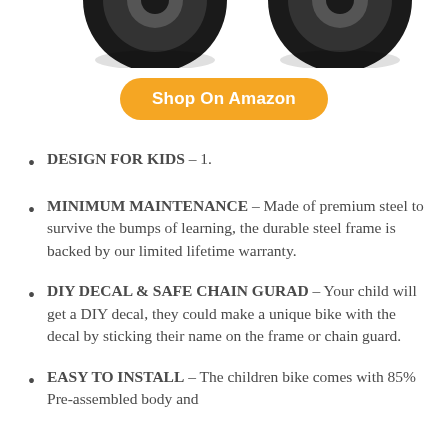[Figure (photo): Partial view of two black bicycle tires/wheels visible at the top of the page against a white background]
Shop On Amazon
DESIGN FOR KIDS – 1.
MINIMUM MAINTENANCE – Made of premium steel to survive the bumps of learning, the durable steel frame is backed by our limited lifetime warranty.
DIY DECAL & SAFE CHAIN GURAD – Your child will get a DIY decal, they could make a unique bike with the decal by sticking their name on the frame or chain guard.
EASY TO INSTALL – The children bike comes with 85% Pre-assembled body and